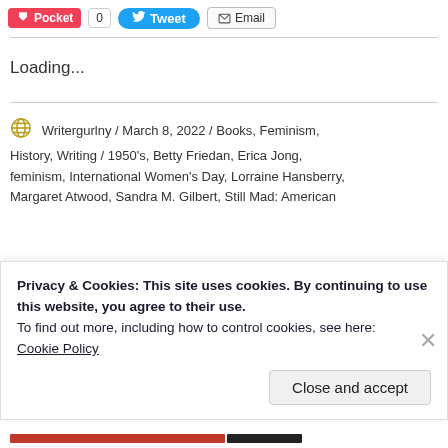[Figure (screenshot): Social sharing buttons: Pocket (red), count badge (0), Tweet (blue), Email (grey)]
Loading...
Writergurlny / March 8, 2022 / Books, Feminism, History, Writing / 1950's, Betty Friedan, Erica Jong, feminism, International Women's Day, Lorraine Hansberry, Margaret Atwood, Sandra M. Gilbert, Still Mad: American
Privacy & Cookies: This site uses cookies. By continuing to use this website, you agree to their use.
To find out more, including how to control cookies, see here:
Cookie Policy
Close and accept